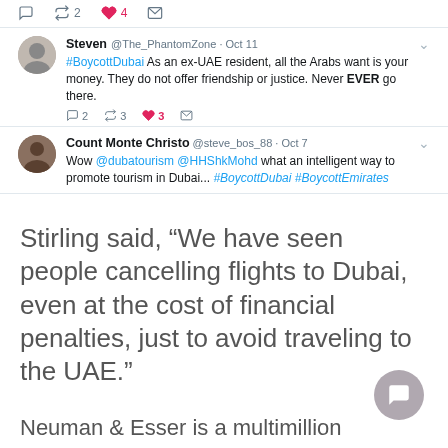[Figure (screenshot): Top tweet action bar showing reply, retweet (2), like (4), and message icons]
[Figure (screenshot): Tweet by Steven @The_PhantomZone Oct 11: #BoycottDubai As an ex-UAE resident, all the Arabs want is your money. They do not offer friendship or justice. Never EVER go there. Reply 2, Retweet 3, Like 3.]
[Figure (screenshot): Tweet by Count Monte Christo @steve_bos_88 Oct 7: Wow @dubatourism @HHShkMohd what an intelligent way to promote tourism in Dubai... #BoycottDubai #BoycottEmirates]
Stirling said, “We have seen people cancelling flights to Dubai, even at the cost of financial penalties, just to avoid traveling to the UAE.”
Neuman & Esser is a multimillion company with considerable influe in the UAE, their statement aligning